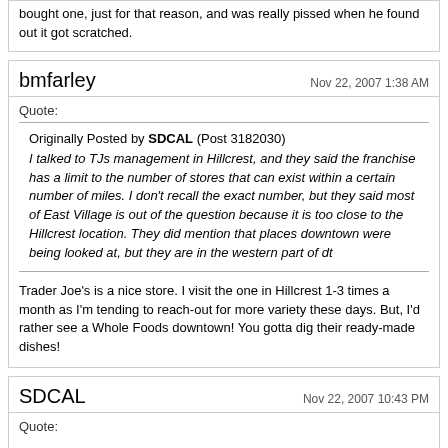bought one, just for that reason, and was really pissed when he found out it got scratched.
bmfarley — Nov 22, 2007 1:38 AM
Quote:
Originally Posted by SDCAL (Post 3182030) I talked to TJs management in Hillcrest, and they said the franchise has a limit to the number of stores that can exist within a certain number of miles. I don't recall the exact number, but they said most of East Village is out of the question because it is too close to the Hillcrest location. They did mention that places downtown were being looked at, but they are in the western part of dt
Trader Joe's is a nice store. I visit the one in Hillcrest 1-3 times a month as I'm tending to reach-out for more variety these days. But, I'd rather see a Whole Foods downtown! You gotta dig their ready-made dishes!
SDCAL — Nov 22, 2007 10:43 PM
Quote: